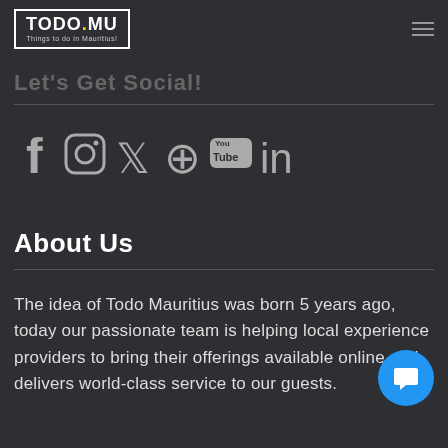TODO.MU | Things to do in Mauritius!
Let's Get Social!
[Figure (illustration): Social media icons: Facebook, Instagram, Twitter, Pinterest, YouTube, LinkedIn]
About Us
The idea of Todo Mauritius was born 5 years ago, today our passionate team is helping local experience providers to bring their offerings available online and delivers world-class service to our guests.
Reviews